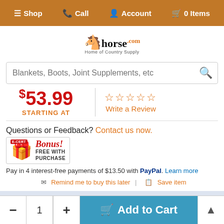Shop  Call  Account  0 Items
[Figure (logo): horse.com - Home of Country Supply logo with horse silhouette]
Blankets, Boots, Joint Supplements, etc (search bar placeholder)
$53.99 STARTING AT
Write a Review (star rating)
Questions or Feedback? Contact us now.
[Figure (other): E-CERT Bonus! Free with Purchase badge]
Pay in 4 interest-free payments of $13.50 with PayPal. Learn more
Remind me to buy this later   Save item
By Continuing to use our site, you consent to our use of cookies to improve your experience. Learn more
- 1 + Add to Cart